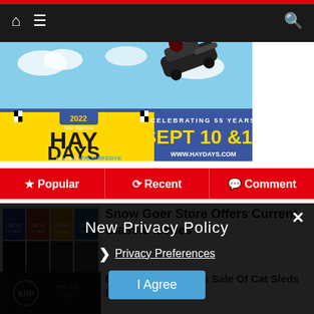Navigation bar with home icon, menu icon, and search icon
[Figure (photo): Hay Days 2022 advertisement banner. Sno Barons Hay Days, Celebrating 55 Years, Sept 10 & 11, www.haydays.com, Presented by Progressive]
Popular | Recent | Comment
[Figure (photo): Grid of Snow Goer magazine cover thumbnails]
Snow Goer Store Offers Current, Classic Issues
[Figure (logo): BRP and Arctic Cat logos]
BRP Injunction Halts Sale Of Cat Sleds In Canada
New Privacy Policy
Privacy Preferences
I Agree